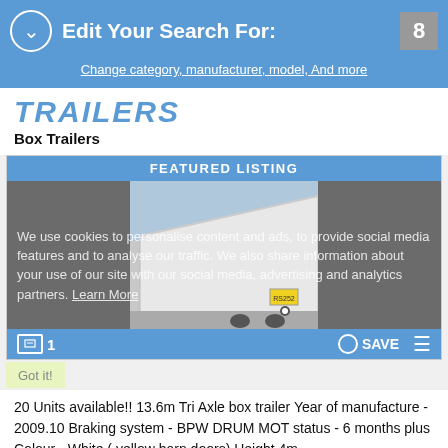Edit Your Search For:
Change category, manufacturer, model, And more
TRAILERS
Box Trailers
FEATURED LISTING
[Figure (photo): A white box trailer photographed at an angle, showing the side and rear, parked outdoors.]
We use cookies to personalise content and ads, to provide social media features and to analyse our traffic. We also share information about your use of our site with our social media, advertising and analytics partners. Learn More
Got it!
20 Units available!! 13.6m Tri Axle box trailer Year of manufacture - 2009.10 Braking system - BPW DRUM MOT status - 6 months plus Colour - White ( yellow barn doors) Height 4m